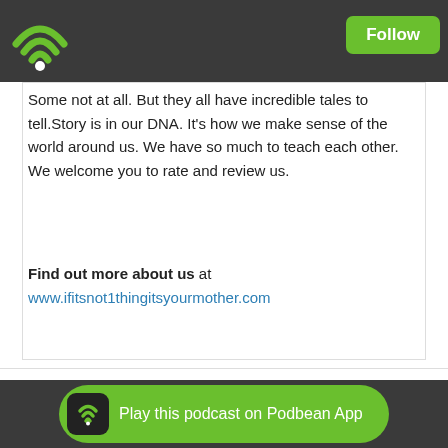[Figure (logo): Green wifi/podcast icon on dark grey top bar background]
Follow
Some not at all. But they all have incredible tales to tell.Story is in our DNA. It's how we make sense of the world around us. We have so much to teach each other. We welcome you to rate and review us.
Find out more about us at www.ifitsnot1thingitsyourmother.com
Share | Download(183)
Play this podcast on Podbean App
Encore Episode